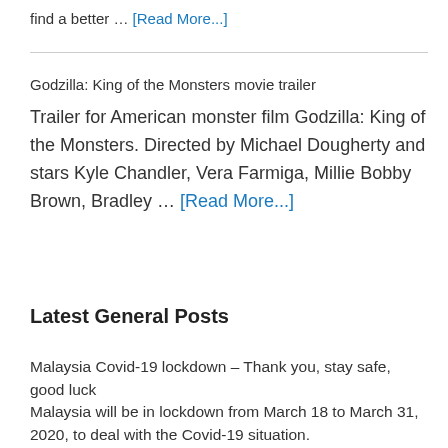find a better … [Read More...]
Godzilla: King of the Monsters movie trailer
Trailer for American monster film Godzilla: King of the Monsters. Directed by Michael Dougherty and stars Kyle Chandler, Vera Farmiga, Millie Bobby Brown, Bradley … [Read More...]
Latest General Posts
Malaysia Covid-19 lockdown – Thank you, stay safe, good luck
Malaysia will be in lockdown from March 18 to March 31, 2020, to deal with the Covid-19 situation.